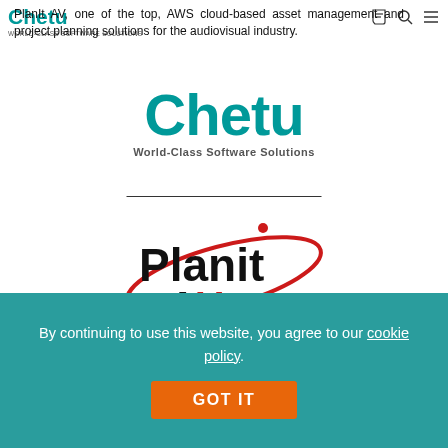Chetu — World-Class Software Solutions
PlanIt AV, one of the top, AWS cloud-based asset management and project planning solutions for the audiovisual industry.
[Figure (logo): Chetu logo — teal bold text 'Chetu' with subtitle 'World-Class Software Solutions']
[Figure (logo): PlanIt AV logo — bold black text 'PlanIt AV' with red elliptical orbit graphic]
Looking to improve its recently launched AV asset management and budget planning solution, PlanIt AV engaged Chetu to optimize the frontend UI/UX to enrich the overall user experience and application functionality.
By continuing to use this website, you agree to our cookie policy.
GOT IT